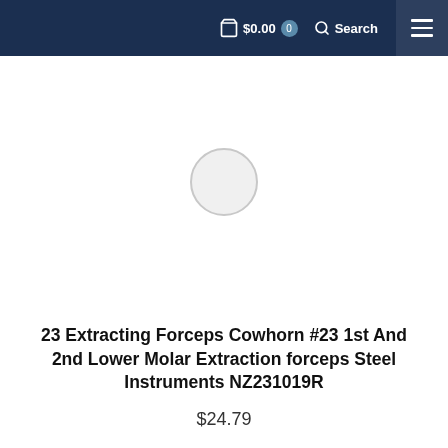$0.00  0  Search
[Figure (photo): Product image loading placeholder — a gray circle on white background indicating an image is loading]
23 Extracting Forceps Cowhorn #23 1st And 2nd Lower Molar Extraction forceps Steel Instruments NZ231019R
$24.79